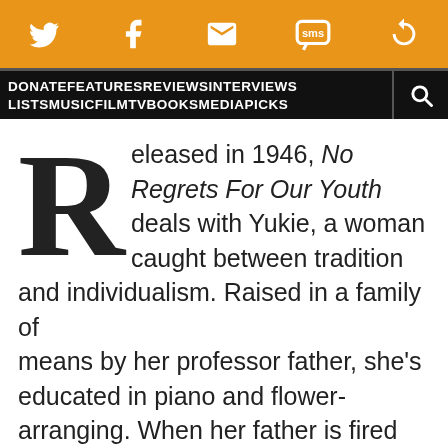[Figure (other): Orange social sharing toolbar with icons for Twitter, Facebook, Email, SMS, and share/reload]
[Figure (other): Black navigation bar with links: DONATE FEATURES REVIEWS INTERVIEWS LISTS MUSIC FILM TV BOOKS MEDIA PICKS and a search icon]
Released in 1946, No Regrets For Our Youth deals with Yukie, a woman caught between tradition and individualism. Raised in a family of means by her professor father, she’s educated in piano and flower-arranging. When her father is fired from the university for his radical beliefs, she inevitably comes along for the ride.
There aren’t a whole lot of other women in this